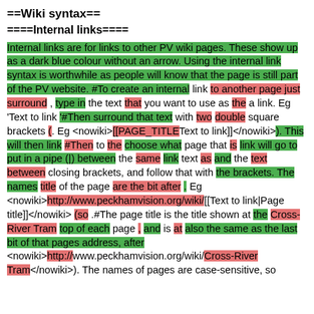==Wiki syntax==
====Internal links====
Internal links are for links to other PV wiki pages. These show up as a dark blue colour without an arrow. Using the internal link syntax is worthwhile as people will know that the page is still part of the PV website. #To create an internal link to another page just surround , type in the text that you want to use as the a link. Eg 'Text to link '#Then surround that text with two double square brackets (. Eg <nowiki>[[PAGE_TITLEText to link]]</nowiki>). This will then link #Then to the choose what page that is link will go to put in a pipe (|) between the same link text as and the text between closing brackets, and follow that with the brackets. The names title of the page are the bit after . Eg <nowiki>http://www.peckhamvision.org/wiki/[[Text to link|Page title]]</nowiki> (so .#The page title is the title shown at the Cross-River Tram top of each page , and is at also the same as the last bit of that pages address, after <nowiki>http://www.peckhamvision.org/wiki/Cross-River Tram</nowiki>). The names of pages are case-sensitive, so